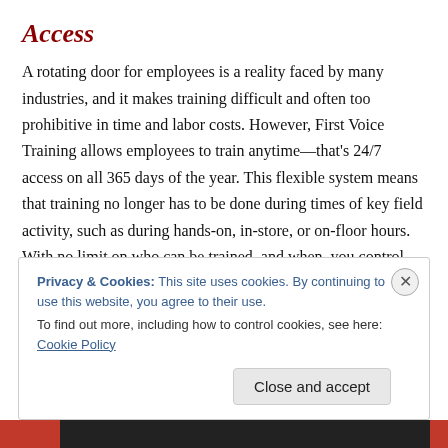Access
A rotating door for employees is a reality faced by many industries, and it makes training difficult and often too prohibitive in time and labor costs. However, First Voice Training allows employees to train anytime—that’s 24/7 access on all 365 days of the year. This flexible system means that training no longer has to be done during times of key field activity, such as during hands-on, in-store, or on-floor hours. With no limit on who can be trained, and when, you control outgoing spend and get more value for
Privacy & Cookies: This site uses cookies. By continuing to use this website, you agree to their use.
To find out more, including how to control cookies, see here: Cookie Policy